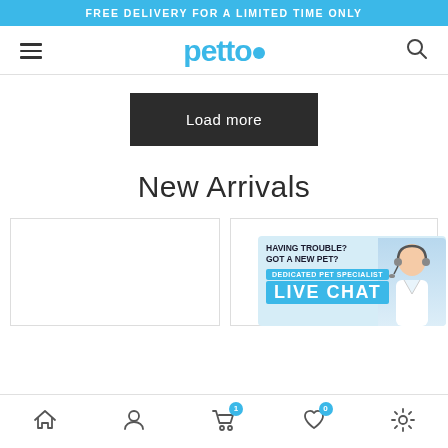FREE DELIVERY FOR A LIMITED TIME ONLY
[Figure (logo): Petto pet store logo with hamburger menu and search icon]
Load more
New Arrivals
[Figure (illustration): Two product cards (empty white boxes with border) for new arrivals products]
[Figure (infographic): Live chat widget: HAVING TROUBLE? GOT A NEW PET? DEDICATED PET SPECIALIST LIVE CHAT with customer support agent photo]
Bottom navigation bar with home, account, cart (1), wishlist (0), and settings icons